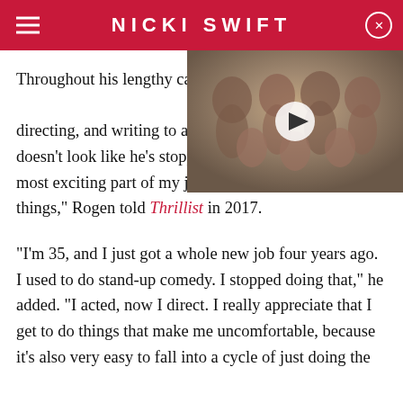NICKI SWIFT
[Figure (photo): A group family photo showing multiple children and a woman, vintage style photo with children of various ages posed together.]
Throughout his lengthy career, [he] added producing, directing, an[d writing] impressive résumé, and it doe[sn't look like he's] stopping anytime soon. "The most exciting part of my job is that I get to do new things," Rogen told Thrillist in 2017.
"I'm 35, and I just got a whole new job four years ago. I used to do stand-up comedy. I stopped doing that," he added. "I acted, now I direct. I really appreciate that I get to do things that make me uncomfortable, because it's also very easy to fall into a cycle of just doing the